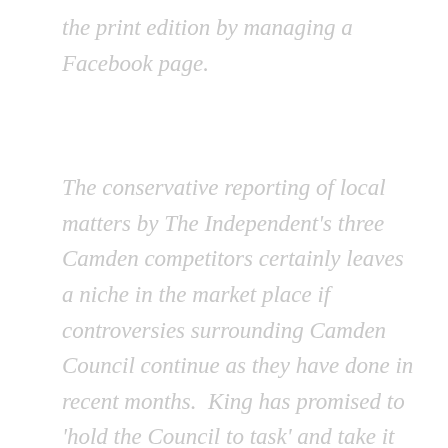the print edition by managing a Facebook page.
The conservative reporting of local matters by The Independent's three Camden competitors certainly leaves a niche in the market place if controversies surrounding Camden Council continue as they have done in recent months.  King has promised to 'hold the Council to task' and take it up to other local papers. If she sticks to her promises The Independent South-West will fit in